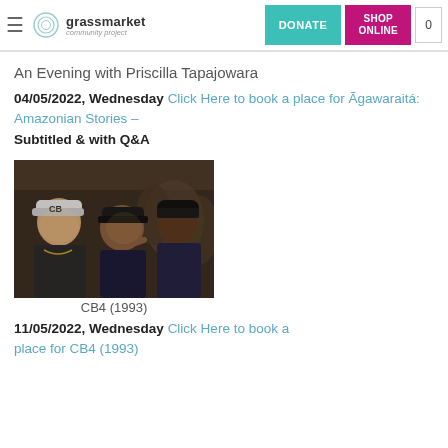grassmarket community project — DONATE — SHOP ONLINE — 0
An Evening with Priscilla Tapajowara
04/05/2022, Wednesday Click Here to book a place for Ãgawaraitá: Amazonian Stories – Subtitled & with Q&A
[Figure (photo): Black and white / colour still photograph from CB4 (1993) showing three men, one wearing a cap with 'CB' letters, in a group scene.]
CB4 (1993)
11/05/2022, Wednesday Click Here to book a place for CB4 (1993)